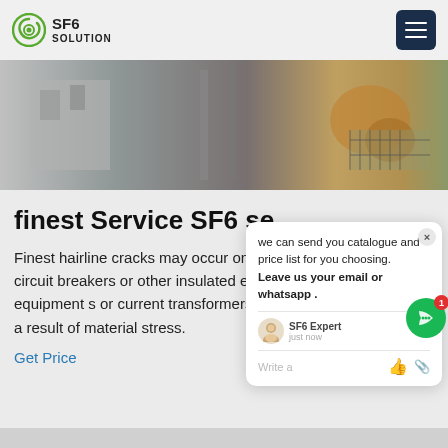SF6 SOLUTION
[Figure (photo): Outdoor industrial/electrical equipment site, showing machinery and structures in an open yard]
finest Service SF6 se...
Finest hairline cracks may occur on insulators for circuit breakers or other insulated electrical equipment such as or current transformers during transport as a result of material stress.
Get Price
[Figure (screenshot): Chat popup widget showing message: 'we can send you catalogue and price list for you choosing. Leave us your email or whatsapp.' with SF6 Expert agent avatar and just now timestamp, write a message input area with thumbs up and paperclip icons]